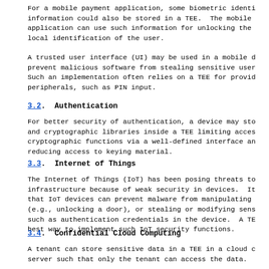For a mobile payment application, some biometric identi information could also be stored in a TEE. The mobile application can use such information for unlocking the local identification of the user.
A trusted user interface (UI) may be used in a mobile d prevent malicious software from stealing sensitive user Such an implementation often relies on a TEE for provid peripherals, such as PIN input.
3.2. Authentication
For better security of authentication, a device may sto and cryptographic libraries inside a TEE limiting acces cryptographic functions via a well-defined interface an reducing access to keying material.
3.3. Internet of Things
The Internet of Things (IoT) has been posing threats to infrastructure because of weak security in devices. It that IoT devices can prevent malware from manipulating (e.g., unlocking a door), or stealing or modifying sens such as authentication credentials in the device. A TE best way to implement such IoT security functions.
3.4. Confidential Cloud Computing
A tenant can store sensitive data in a TEE in a cloud c server such that only the tenant can access the data.